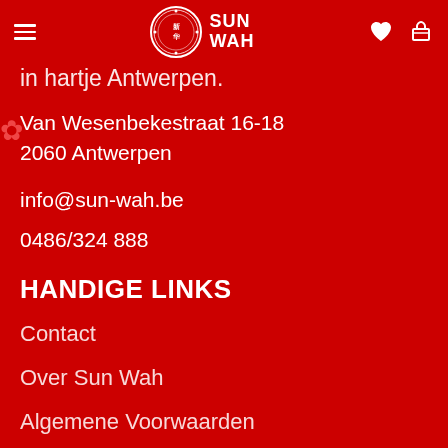Sun Wah – navigation header with hamburger menu, logo, and icons
in hartje Antwerpen.
Van Wesenbekestraat 16-18
2060 Antwerpen
info@sun-wah.be
0486/324 888
HANDIGE LINKS
Contact
Over Sun Wah
Algemene Voorwaarden